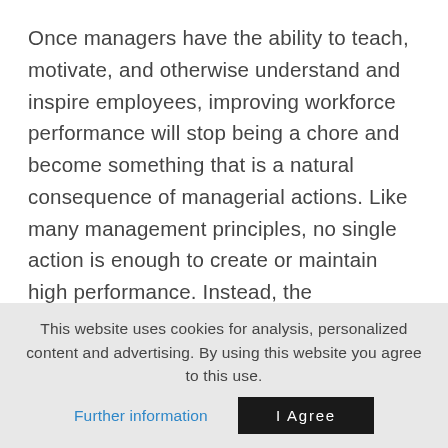Once managers have the ability to teach, motivate, and otherwise understand and inspire employees, improving workforce performance will stop being a chore and become something that is a natural consequence of managerial actions. Like many management principles, no single action is enough to create or maintain high performance. Instead, the suggestions here are a more general shift towards practices that have been shown to be the hallmarks of high-performance organizations. Other actions that promote high-performance can be found in i4cp's upcoming report "Creating a High-
This website uses cookies for analysis, personalized content and advertising. By using this website you agree to this use.
Further information | I Agree